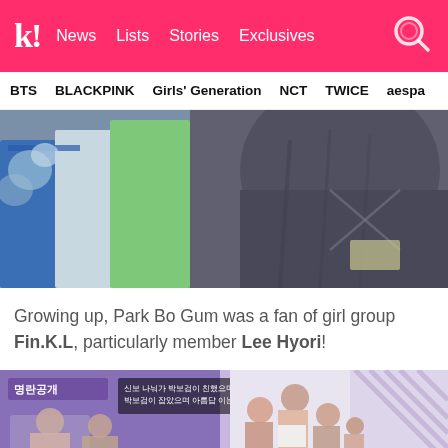k! News Lists Stories Exclusives [search]
BTS  BLACKPINK  Girls' Generation  NCT  TWICE  aespa
[Figure (photo): Close-up photo of gift bags and a person in dark clothing, slightly blurred]
Growing up, Park Bo Gum was a fan of girl group Fin.K.L, particularly member Lee Hyori!
[Figure (photo): Korean TV show screenshot showing '명란공개' text overlay and group of people, split into two panels]